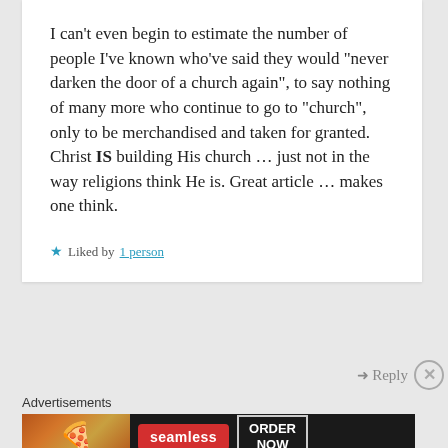I can’t even begin to estimate the number of people I’ve known who’ve said they would “never darken the door of a church again”, to say nothing of many more who continue to go to “church”, only to be merchandised and taken for granted. Christ IS building His church … just not in the way religions think He is. Great article … makes one think.
Liked by 1 person
Reply
Advertisements
[Figure (other): Seamless food delivery advertisement banner showing pizza image on left, Seamless logo in red, and ORDER NOW button on right, all on dark background]